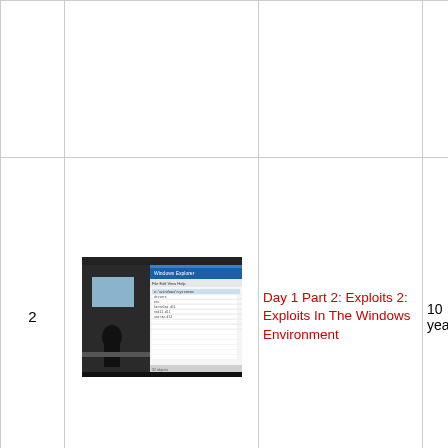| # | Thumbnail | Title | Age |
| --- | --- | --- | --- |
|  |  |  |  |
| 2 | [screenshot] | Day 1 Part 2: Exploits 2: Exploits In The Windows Environment | 10 years |
|  | [screenshot] | Day 1 Part 3: Exploits 3... |  |